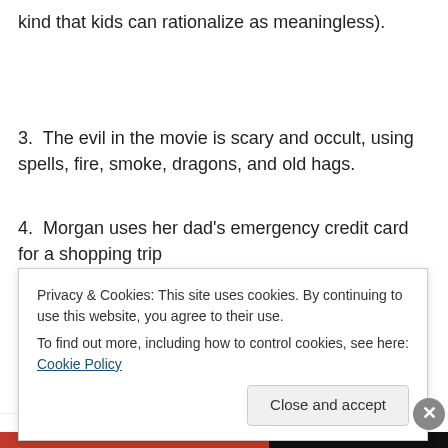kind that kids can rationalize as meaningless).
3.  The evil in the movie is scary and occult, using spells, fire, smoke, dragons, and old hags.
4.  Morgan uses her dad's emergency credit card for a shopping trip
Privacy & Cookies: This site uses cookies. By continuing to use this website, you agree to their use.
To find out more, including how to control cookies, see here: Cookie Policy
Close and accept
Advertisements